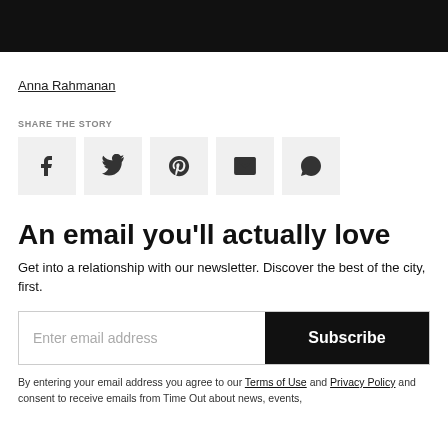[Figure (other): Black navigation bar at top of page]
Anna Rahmanan
SHARE THE STORY
[Figure (other): Social share icons: Facebook, Twitter, Pinterest, Email, WhatsApp]
An email you'll actually love
Get into a relationship with our newsletter. Discover the best of the city, first.
[Figure (other): Email subscription input field with Subscribe button]
By entering your email address you agree to our Terms of Use and Privacy Policy and consent to receive emails from Time Out about news, events,